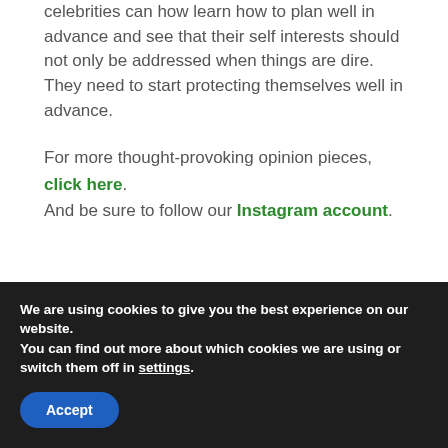celebrities can now learn how to plan well in advance and see that their self interests should not only be addressed when things are dire. They need to start protecting themselves well in advance.
For more thought-provoking opinion pieces, click here. And be sure to follow our Instagram account.
We are using cookies to give you the best experience on our website. You can find out more about which cookies we are using or switch them off in settings. Accept